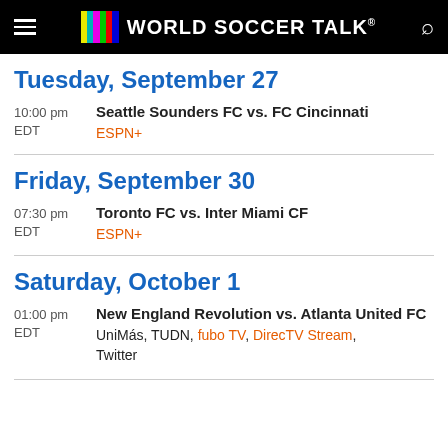World Soccer Talk
Tuesday, September 27
10:00 pm EDT — Seattle Sounders FC vs. FC Cincinnati — ESPN+
Friday, September 30
07:30 pm EDT — Toronto FC vs. Inter Miami CF — ESPN+
Saturday, October 1
01:00 pm EDT — New England Revolution vs. Atlanta United FC — UniMás, TUDN, fubo TV, DirecTV Stream, Twitter